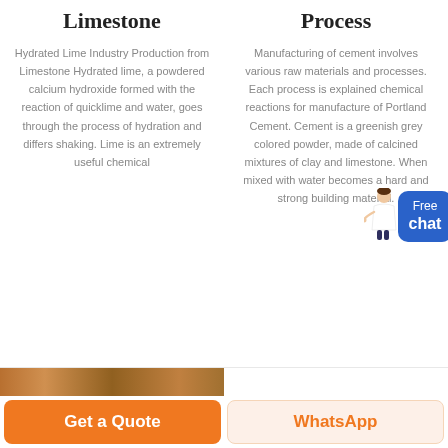Limestone
Process
Hydrated Lime Industry Production from Limestone Hydrated lime, a powdered calcium hydroxide formed with the reaction of quicklime and water, goes through the process of hydration and differs shaking. Lime is an extremely useful chemical
Manufacturing of cement involves various raw materials and processes. Each process is explained chemical reactions for manufacture of Portland Cement. Cement is a greenish grey colored powder, made of calcined mixtures of clay and limestone. When mixed with water becomes a hard and strong building material.
[Figure (illustration): Free chat widget with person figure and blue button labeled Free chat]
[Figure (photo): Partial photo of limestone or construction material at bottom left]
Get a Quote
WhatsApp